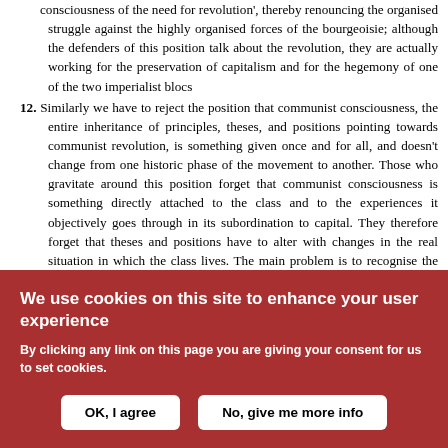consciousness of the need for revolution', thereby renouncing the organised struggle against the highly organised forces of the bourgeoisie; although the defenders of this position talk about the revolution, they are actually working for the preservation of capitalism and for the hegemony of one of the two imperialist blocs
12. Similarly we have to reject the position that communist consciousness, the entire inheritance of principles, theses, and positions pointing towards communist revolution, is something given once and for all, and doesn't change from one historic phase of the movement to another. Those who gravitate around this position forget that communist consciousness is something directly attached to the class and to the experiences it objectively goes through in its subordination to capital. They therefore forget that theses and positions have to alter with changes in the real situation in which the class lives. The main problem is to recognise the characteristics of the class struggle through all these changes, and to draw the necessary lessons from it. Naturally all the variations in
We use cookies on this site to enhance your user experience
By clicking any link on this page you are giving your consent for us to set cookies.